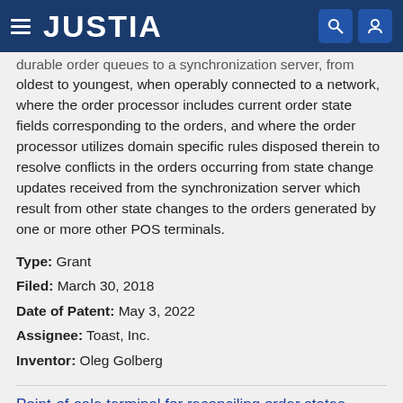JUSTIA
durable order queues to a synchronization server, from oldest to youngest, when operably connected to a network, where the order processor includes current order state fields corresponding to the orders, and where the order processor utilizes domain specific rules disposed therein to resolve conflicts in the orders occurring from state change updates received from the synchronization server which result from other state changes to the orders generated by one or more other POS terminals.
Type: Grant
Filed: March 30, 2018
Date of Patent: May 3, 2022
Assignee: Toast, Inc.
Inventor: Oleg Golberg
Point-of-sale terminal for reconciling order states